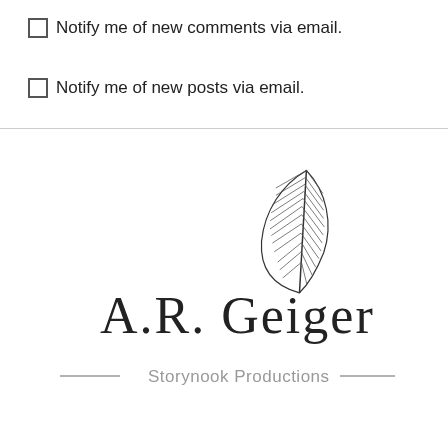Notify me of new comments via email.
Notify me of new posts via email.
[Figure (logo): A.R. Geiger signature with a feather quill illustration above, and 'Storynook Productions' text with decorative dashes below — logo for Storynook Productions]